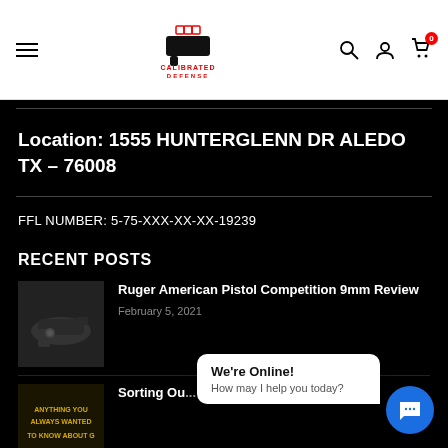[Figure (logo): Calibrated Defense logo with red crosshair/target symbol above stylized gun shape, text 'CALIBRATED DEFENSE' in red below]
Location: 1555 HUNTERGLENN DR ALEDO TX – 76008
FFL NUMBER: 5-75-XXX-XX-XX-19239
RECENT POSTS
[Figure (photo): Thumbnail photo of a handgun in dark/black and white tones]
Ruger American Pistol Competition 9mm Review
February 5, 2021
[Figure (photo): Thumbnail image with gold/yellow text on dark background reading partial text about guns]
Sorting Ou...